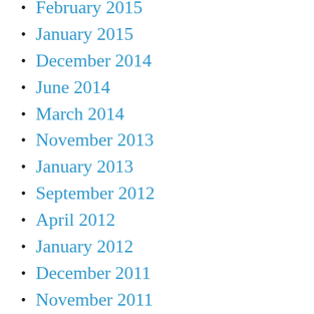February 2015
January 2015
December 2014
June 2014
March 2014
November 2013
January 2013
September 2012
April 2012
January 2012
December 2011
November 2011
October 2011
September 2011
August 2011
June 2011